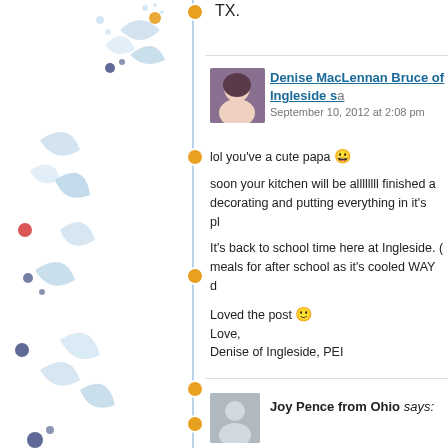TX.
Denise MacLennan Bruce of Ingleside says
September 10, 2012 at 2:08 pm

lol you've a cute papa 😀

soon your kitchen will be allllllll finished and you can start decorating and putting everything in it's place

It's back to school time here at Ingleside. Great time to make meals for after school as it's cooled WAY down

Loved the post 🙂
Love,
Denise of Ingleside, PEI
Joy Pence from Ohio says: